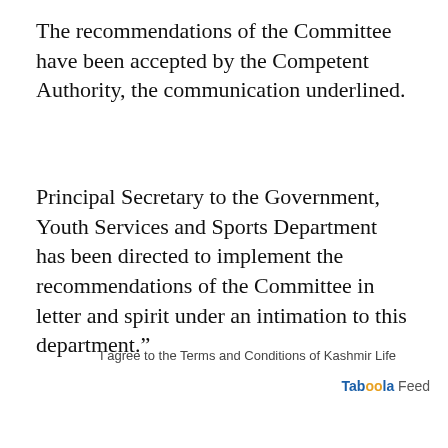The recommendations of the Committee have been accepted by the Competent Authority, the communication underlined.
Principal Secretary to the Government, Youth Services and Sports Department has been directed to implement the recommendations of the Committee in letter and spirit under an intimation to this department.”
I agree to the Terms and Conditions of Kashmir Life
Taboola Feed